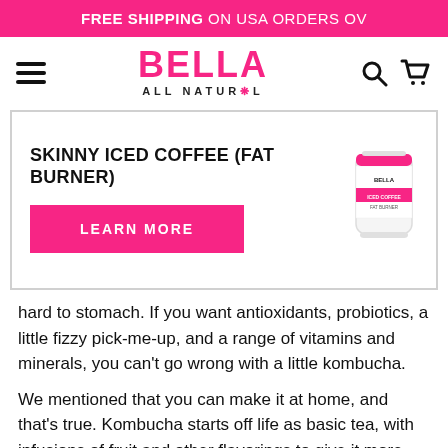FREE SHIPPING ON USA ORDERS OV
[Figure (logo): Bella All Natural logo with pink text, hamburger menu icon, search icon, and cart icon]
SKINNY ICED COFFEE (FAT BURNER)
[Figure (photo): Product can of Bella All Natural Iced Coffee Fat Burner]
LEARN MORE
hard to stomach. If you want antioxidants, probiotics, a little fizzy pick-me-up, and a range of vitamins and minerals, you can't go wrong with a little kombucha.
We mentioned that you can make it at home, and that's true. Kombucha starts off life as basic tea, with infusions of fruit and other flavorings to give it more depth of taste. As a